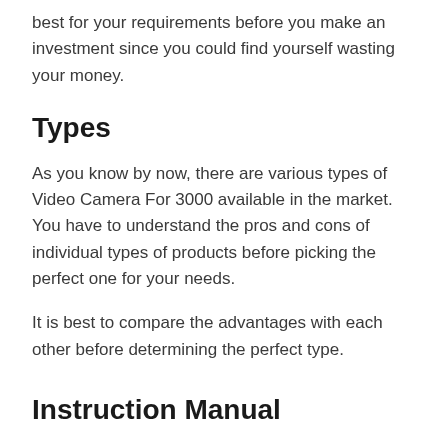best for your requirements before you make an investment since you could find yourself wasting your money.
Types
As you know by now, there are various types of Video Camera For 3000 available in the market. You have to understand the pros and cons of individual types of products before picking the perfect one for your needs.
It is best to compare the advantages with each other before determining the perfect type.
Instruction Manual